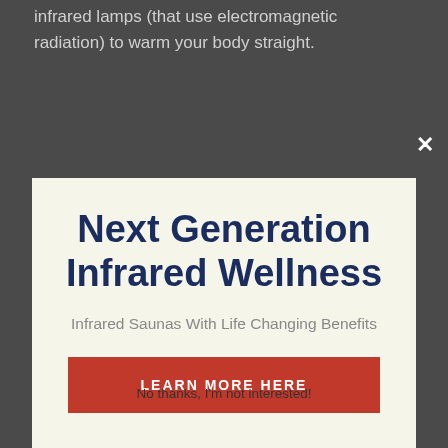infrared lamps (that use electromagnetic radiation) to warm your body straight.
[Figure (screenshot): Modal popup overlay with title 'Next Generation Infrared Wellness', subtitle 'Infrared Saunas With Life Changing Benefits', a red button 'LEARN MORE HERE', and a close X button in the top right corner.]
Next Generation Infrared Wellness
Infrared Saunas With Life Changing Benefits
LEARN MORE HERE
No thanks, I'm not interested!
usually betwe...
Manufacturers claim that in an infrared sauna, just